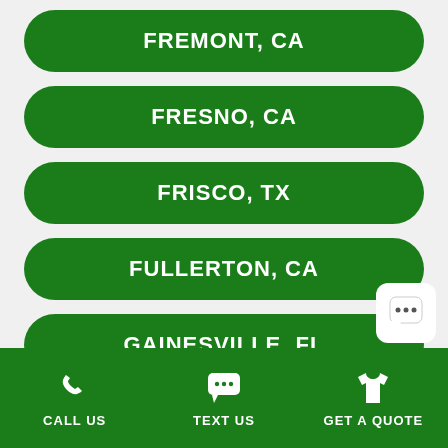FREMONT, CA
FRESNO, CA
FRISCO, TX
FULLERTON, CA
GAINESVILLE, FL
GARDEN GROVE, CA
GARLAND, TX
CALL US   TEXT US   GET A QUOTE